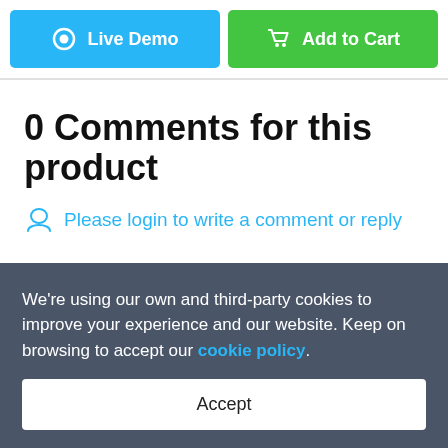[Figure (screenshot): Two action buttons: 'Live Demo' (blue) and 'Add to Cart' (green)]
0 Comments for this product
Please login to write a comment or reply
RELATED SEARCHES:
We're using our own and third-party cookies to improve your experience and our website. Keep on browsing to accept our cookie policy.
Accept